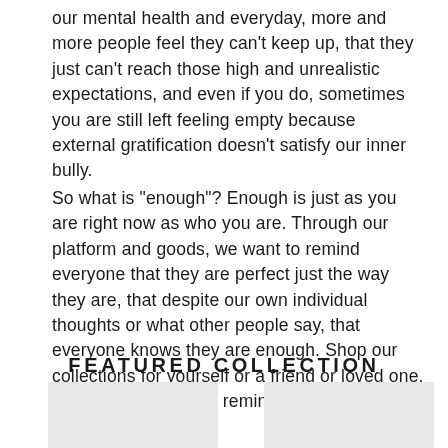our mental health and everyday, more and more people feel they can't keep up, that they just can't reach those high and unrealistic expectations, and even if you do, sometimes you are still left feeling empty because external gratification doesn't satisfy our inner bully.
So what is "enough"? Enough is just as you are right now as who you are. Through our platform and goods, we want to remind everyone that they are perfect just the way they are, that despite our own individual thoughts or what other people say, that everyone knows they are enough. Shop our collections for yourself or a friend or loved one. Spread the word and remind the world that everyone is enough!
FEATURED COLLECTION
[Figure (photo): Left product image placeholder]
[Figure (photo): Right product image placeholder]